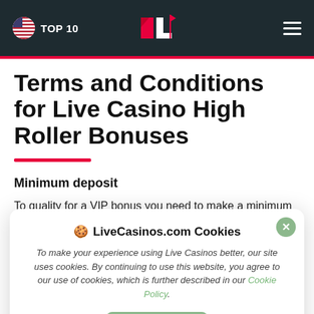TOP 10 | LiveCasinos.com logo | Hamburger menu
Terms and Conditions for Live Casino High Roller Bonuses
Minimum deposit
To quality for a VIP bonus you need to make a minimum
LiveCasinos.com Cookies
To make your experience using Live Casinos better, our site uses cookies. By continuing to use this website, you agree to our use of cookies, which is further described in our Cookie Policy.
Accept